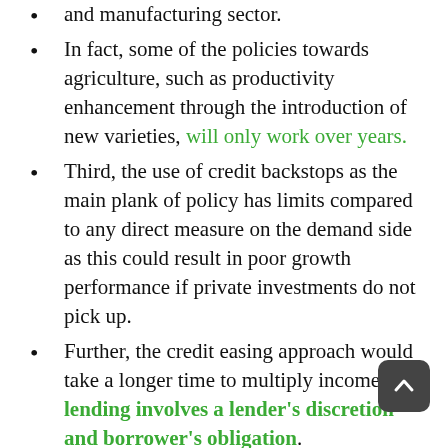and manufacturing sector.
In fact, some of the policies towards agriculture, such as productivity enhancement through the introduction of new varieties, will only work over years.
Third, the use of credit backstops as the main plank of policy has limits compared to any direct measure on the demand side as this could result in poor growth performance if private investments do not pick up.
Further, the credit easing approach would take a longer time to multiply incomes as lending involves a lender's discretion and borrower's obligation.
Interestingly, a tight-fisted fiscal policy approach comes at a time when conventional